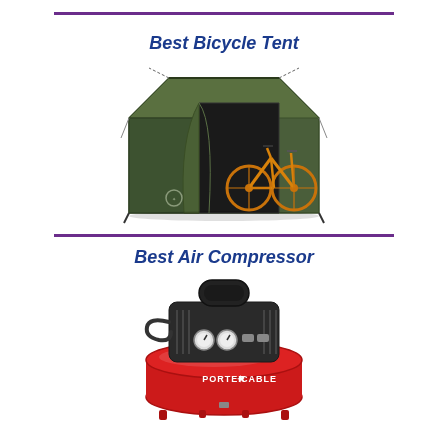Best Bicycle Tent
[Figure (photo): Green bicycle storage tent with an orange mountain bike inside, open front flap, on white background]
Best Air Compressor
[Figure (photo): Porter + Cable red pancake air compressor with black motor on top, on white background]